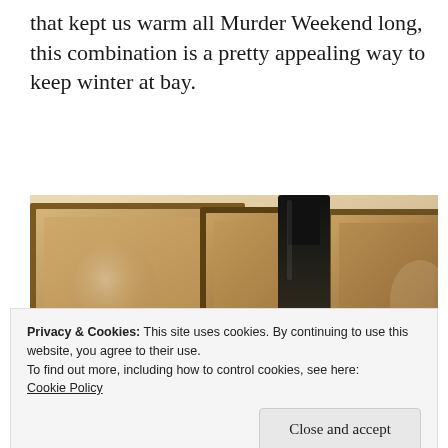that kept us warm all Murder Weekend long, this combination is a pretty appealing way to keep winter at bay.
[Figure (photo): Photo showing a wine bottle and wine glasses in front of framed pictures on a wall, warm amber tones.]
Privacy & Cookies: This site uses cookies. By continuing to use this website, you agree to their use.
To find out more, including how to control cookies, see here: Cookie Policy
Close and accept